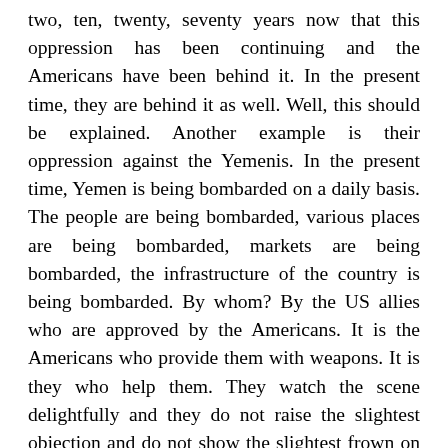two, ten, twenty, seventy years now that this oppression has been continuing and the Americans have been behind it. In the present time, they are behind it as well. Well, this should be explained. Another example is their oppression against the Yemenis. In the present time, Yemen is being bombarded on a daily basis. The people are being bombarded, various places are being bombarded, markets are being bombarded, the infrastructure of the country is being bombarded. By whom? By the US allies who are approved by the Americans. It is the Americans who provide them with weapons. It is they who help them. They watch the scene delightfully and they do not raise the slightest objection and do not show the slightest frown on their faces. Of course, there are some people among them – for example, writers – who make some objections, but the US administration does not pay any attention to them at all. That is while they go and display some pieces of scrap iron with complete